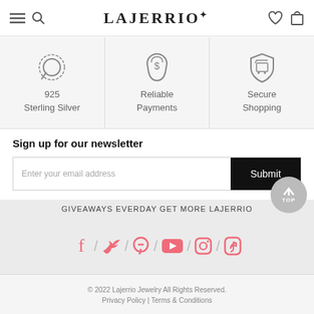LAJERRIO
[Figure (infographic): Three feature icons: 925 Sterling Silver (ring icon), Reliable Payments (money bag icon), Secure Shopping (shield with cart icon)]
Sign up for our newsletter
Enter your email address | Submit
GIVEAWAYS EVERDAY GET MORE LAJERRIO
[Figure (infographic): Social media icons: Facebook, Twitter, Pinterest, YouTube, Instagram, TikTok in pink/coral color with slash separators]
© 2022 Lajerrio Jewelry All Rights Reserved. Privacy Policy | Terms & Conditions